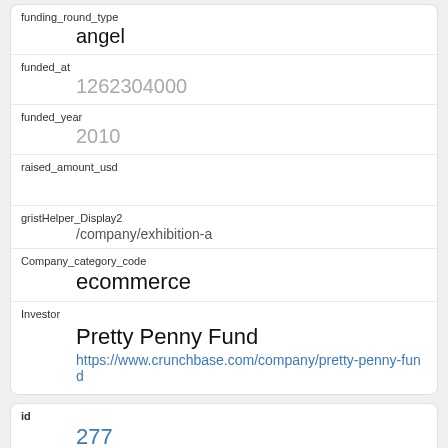| funding_round_type | angel |
| funded_at | 1262304000 |
| funded_year | 2010 |
| raised_amount_usd |  |
| gristHelper_Display2 | /company/exhibition-a |
| Company_category_code | ecommerce |
| Investor | Pretty Penny Fund
https://www.crunchbase.com/company/pretty-penny-fund |
| id | 277 |
| manualSort |  |